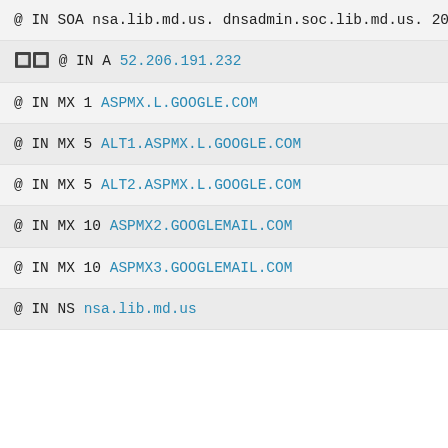@ IN SOA nsa.lib.md.us. dnsadmin.soc.lib.md.us. 2022072900
🔲🔲 @ IN A 52.206.191.232
@ IN MX 1 ASPMX.L.GOOGLE.COM
@ IN MX 5 ALT1.ASPMX.L.GOOGLE.COM
@ IN MX 5 ALT2.ASPMX.L.GOOGLE.COM
@ IN MX 10 ASPMX2.GOOGLEMAIL.COM
@ IN MX 10 ASPMX3.GOOGLEMAIL.COM
@ IN NS nsa.lib.md.us